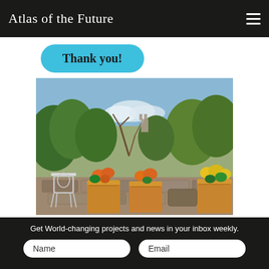Atlas of the Future
Thank you!
[Figure (photo): Outdoor garden terrace with wooden planter boxes filled with orange and yellow flowers, a white ornate metal chair on the left, stone paving, trees and shrubs in the background, and a castle or tower visible in the distance under a partly cloudy blue sky.]
Get World-changing projects and news in your inbox weekly.